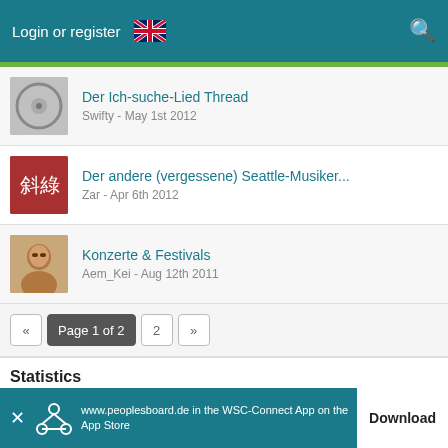Login or register
Der Ich-suche-Lied Thread
Swifty - May 1st 2012
Der andere (vergessene) Seattle-Musiker...
Zar - Apr 6th 2012
Konzerte & Festivals
Aem_Kei - Aug 12th 2011
Page 1 of 2  2  »
Statistics
33 Threads - 8,072 Posts (1.27 Posts per Day)
✔ Mark This Forum Read
Legal Notice
www.peoplesboard.de in the WSC-Connect App on the App Store  Download